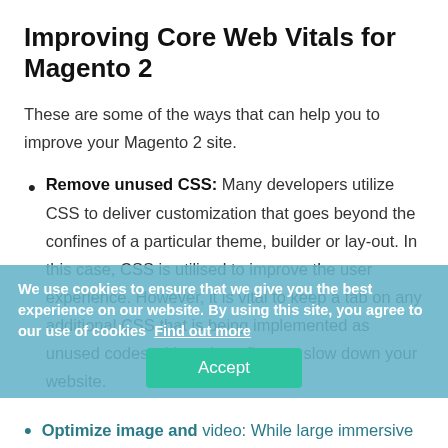Improving Core Web Vitals for Magento 2
These are some of the ways that can help you to improve your Magento 2 site.
Remove unused CSS: Many developers utilize CSS to deliver customization that goes beyond the confines of a particular theme, builder or lay-out. In this case, CSS is utilised to improve the user experience. However, it is vital to keep a tab on any additional CSS that is being implemented as unused codes with no benefits can slow down your website.
We use cookies to ensure that we give you the best experience on our website. By using this site, you agree to our use of cookies Find out more
Optimize image and video: While large immersive